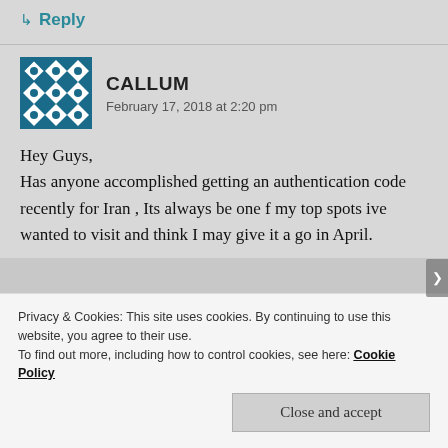↳ Reply
CALLUM
February 17, 2018 at 2:20 pm
Hey Guys,
Has anyone accomplished getting an authentication code recently for Iran , Its always be one f my top spots ive wanted to visit and think I may give it a go in April.
Privacy & Cookies: This site uses cookies. By continuing to use this website, you agree to their use.
To find out more, including how to control cookies, see here: Cookie Policy
Close and accept